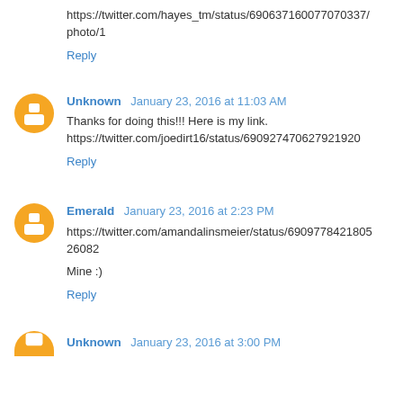https://twitter.com/hayes_tm/status/690637160077070337/photo/1
Reply
Unknown  January 23, 2016 at 11:03 AM
Thanks for doing this!!! Here is my link. https://twitter.com/joedirt16/status/690927470627921920
Reply
Emerald  January 23, 2016 at 2:23 PM
https://twitter.com/amandalinsmeier/status/690977842180526082
Mine :)
Reply
Unknown  January 23, 2016 at 3:00 PM